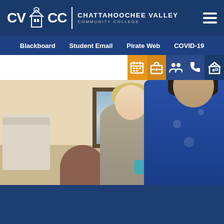[Figure (logo): CVCC Chattahoochee Valley Community College logo on blue header bar with hamburger menu icon]
Blackboard  Student Email  Pirate Web  COVID-19
[Figure (screenshot): Office scene with two women having a consultation at a desk, with a monitor, printer, and painting on wall in background. Icon toolbar overlaid at top with calendar, briefcase, people, phone, and building icons.]
Apply for Financial Aid
Application Process
[Figure (logo): Google reCAPTCHA badge with Privacy - Terms text]